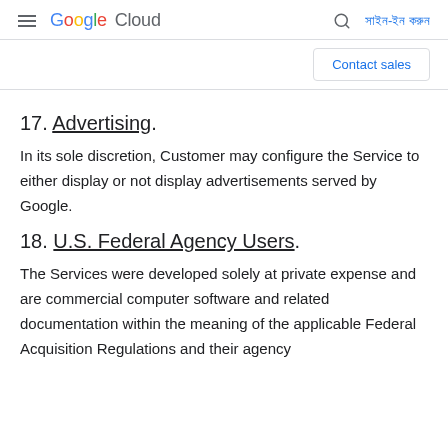Google Cloud — সাইন-ইন করুন
17. Advertising.
In its sole discretion, Customer may configure the Service to either display or not display advertisements served by Google.
18. U.S. Federal Agency Users.
The Services were developed solely at private expense and are commercial computer software and related documentation within the meaning of the applicable Federal Acquisition Regulations and their agency